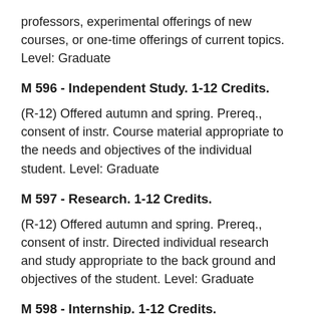professors, experimental offerings of new courses, or one-time offerings of current topics. Level: Graduate
M 596 - Independent Study. 1-12 Credits.
(R-12) Offered autumn and spring. Prereq., consent of instr. Course material appropriate to the needs and objectives of the individual student. Level: Graduate
M 597 - Research. 1-12 Credits.
(R-12) Offered autumn and spring. Prereq., consent of instr. Directed individual research and study appropriate to the back ground and objectives of the student. Level: Graduate
M 598 - Internship. 1-12 Credits.
(R-12) Offered autumn and spring. Prereq., consent